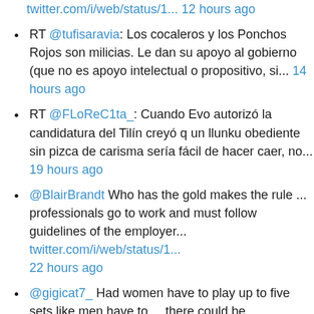twitter.com/i/web/status/1... 12 hours ago
RT @tufisaravia: Los cocaleros y los Ponchos Rojos son milicias. Le dan su apoyo al gobierno (que no es apoyo intelectual o propositivo, si... 14 hours ago
RT @FLoReC1ta_: Cuando Evo autorizó la candidatura del Tilín creyó q un llunku obediente sin pizca de carisma sería fácil de hacer caer, no... 19 hours ago
@BlairBrandt Who has the gold makes the rule ... professionals go to work and must follow guidelines of the employer... twitter.com/i/web/status/1... 22 hours ago
@gigicat7_ Had women have to play up to five sets like men have to ... there could be comparisons among them ... 1 day ago
Blue-bearded Macaw – Paraba Barba Azul